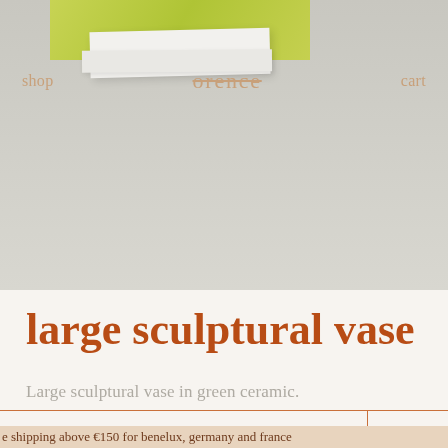[Figure (photo): Top section showing a green sculptural vase partially visible at top, with white packaging/books in foreground on a warm grey background. Navigation bar overlaid with 'shop', 'orence' logo (struck through), and 'cart' links.]
shop    orence    cart
large sculptural vase
Large sculptural vase in green ceramic.
| Price | Status |
| --- | --- |
| €28 | sold |
e shipping above €150 for benelux, germany and france